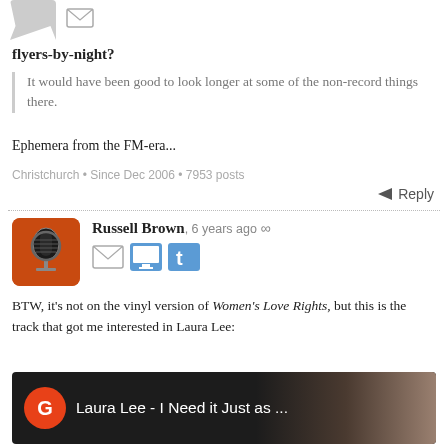flyers-by-night?
It would have been good to look longer at some of the non-record things there.
Ephemera from the FM-era...
Christchurch • Since Dec 2006 • 7953 posts
Reply
Russell Brown, 6 years ago ∞
BTW, it's not on the vinyl version of Women's Love Rights, but this is the track that got me interested in Laura Lee:
[Figure (screenshot): Video thumbnail showing a YouTube-like video with orange G circle icon, title 'Laura Lee - I Need it Just as ...' and a partial face in the background]